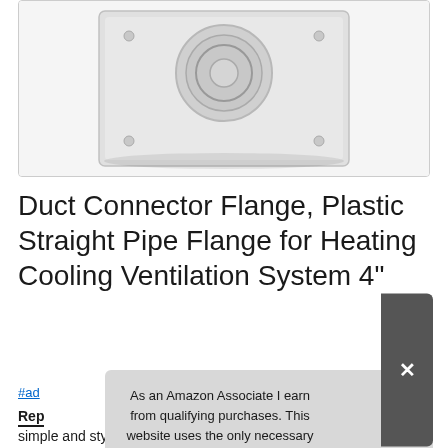[Figure (photo): Product photo of a white plastic duct connector flange with a circular pipe opening and mounting holes at corners, viewed from above on a white background]
Duct Connector Flange, Plastic Straight Pipe Flange for Heating Cooling Ventilation System 4"
#ad
As an Amazon Associate I earn from qualifying purchases. This website uses the only necessary cookies to ensure you get the best experience on our website. More information
Rep
simple and stylish // ABS Plastic rigid ducting is perfect for DIY